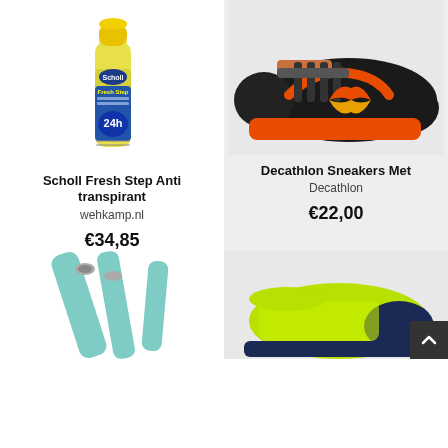[Figure (photo): Scholl Fresh Step Anti transpirant spray can with yellow cap and blue/yellow body showing '24h' and Scholl logo]
[Figure (photo): Decathlon Sneakers Met - black athletic shoe with orange and yellow accents on a light grey background]
Scholl Fresh Step Anti transpirant
wehkamp.nl
€34,85
Decathlon Sneakers Met
Decathlon
€22,00
[Figure (photo): Mint/turquoise colored sandals or flip-flop straps, partially cut off at bottom of page]
[Figure (photo): Yellow-green/neon athletic shoe, partially cut off at bottom right of page]